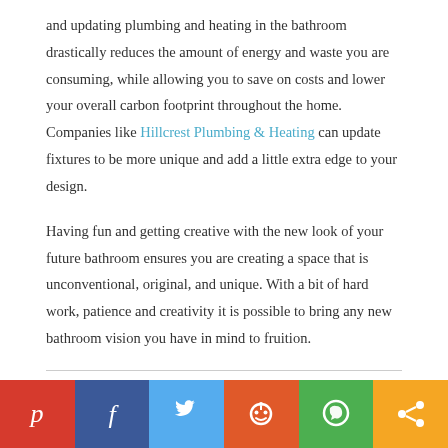and updating plumbing and heating in the bathroom drastically reduces the amount of energy and waste you are consuming, while allowing you to save on costs and lower your overall carbon footprint throughout the home. Companies like Hillcrest Plumbing & Heating can update fixtures to be more unique and add a little extra edge to your design.
Having fun and getting creative with the new look of your future bathroom ensures you are creating a space that is unconventional, original, and unique. With a bit of hard work, patience and creativity it is possible to bring any new bathroom vision you have in mind to fruition.
BATHROOMS, HOME IDEAS, HOME IMPROVEMENT | AFFORDABLE BATHROOM, BATHROOM, BATHROOM REMODEL IDEAS, BATHROOM REMODEL TIPS, BATHROOM REMODELING IDEAS